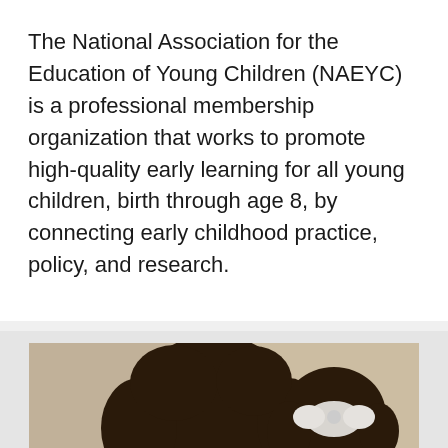The National Association for the Education of Young Children (NAEYC) is a professional membership organization that works to promote high-quality early learning for all young children, birth through age 8, by connecting early childhood practice, policy, and research.
[Figure (photo): A woman with natural curly hair smiling and looking down at a young girl with a white bow headband, both appearing to read a book together. The woman is wearing a blue plaid shirt and the girl is wearing a white polka-dot top.]